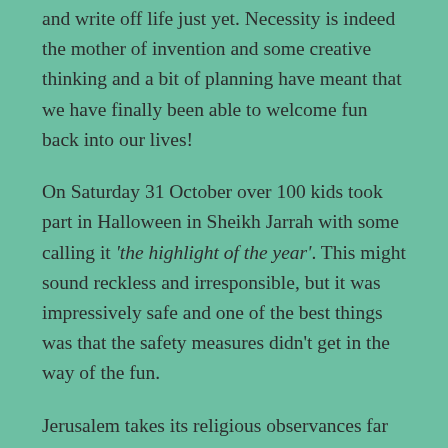and write off life just yet. Necessity is indeed the mother of invention and some creative thinking and a bit of planning have meant that we have finally been able to welcome fun back into our lives!
On Saturday 31 October over 100 kids took part in Halloween in Sheikh Jarrah with some calling it 'the highlight of the year'. This might sound reckless and irresponsible, but it was impressively safe and one of the best things was that the safety measures didn't get in the way of the fun.
Jerusalem takes its religious observances far too seriously for Halloween to be a thing here. Bewilderment and amusement danced across local peoples faces when they saw whole families emerging